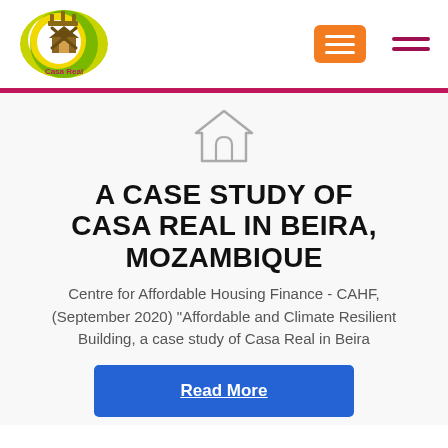[Figure (logo): Casa Real logo — circular logo with green/yellow crescent, crossed hammers and house icon, text 'Casa Real' in red]
[Figure (other): Orange rectangle button with three white horizontal lines (hamburger menu icon)]
[Figure (other): Dark red two-line hamburger/menu icon]
[Figure (other): Simple house outline icon in gray]
A CASE STUDY OF CASA REAL IN BEIRA, MOZAMBIQUE
Centre for Affordable Housing Finance - CAHF, (September 2020) "Affordable and Climate Resilient Building, a case study of Casa Real in Beira
Read More